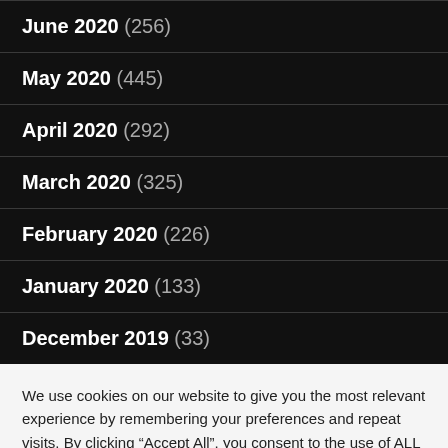June 2020 (256)
May 2020 (445)
April 2020 (292)
March 2020 (325)
February 2020 (226)
January 2020 (133)
December 2019 (33)
We use cookies on our website to give you the most relevant experience by remembering your preferences and repeat visits. By clicking “Accept All”, you consent to the use of ALL the cookies. However, you may visit "Cookie Settings" to provide a controlled consent.
Cookie Settings | Accept All